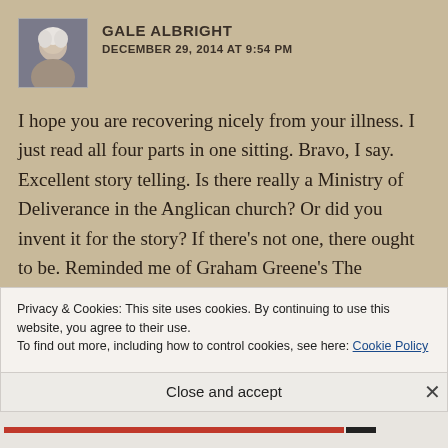[Figure (photo): Avatar photo of Gale Albright, an elderly person with white/gray hair]
GALE ALBRIGHT
DECEMBER 29, 2014 AT 9:54 PM
I hope you are recovering nicely from your illness. I just read all four parts in one sitting. Bravo, I say. Excellent story telling. Is there really a Ministry of Deliverance in the Anglican church? Or did you invent it for the story? If there's not one, there ought to be. Reminded me of Graham Greene's The Ministry of Fear. Have a wonderful
Privacy & Cookies: This site uses cookies. By continuing to use this website, you agree to their use.
To find out more, including how to control cookies, see here: Cookie Policy
Close and accept